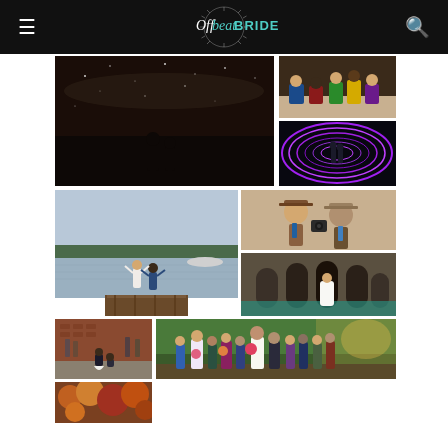Offbeat BRIDE website navigation header
[Figure (photo): Couple silhouetted under a starry night sky near water]
[Figure (photo): Colorful wedding guests sitting on pavement]
[Figure (photo): Couple standing inside glowing purple neon light tunnel]
[Figure (photo): Couple in wedding attire jumping on a lakeside dock]
[Figure (photo): Two people in hats and western wear facing each other closely]
[Figure (photo): Bride standing in an ornate Gothic pool/fountain structure]
[Figure (photo): Person proposing on one knee on a city street]
[Figure (photo): Wedding party walking through lush green trees in sunlight]
[Figure (photo): Partial photo of colorful autumn foliage scene]